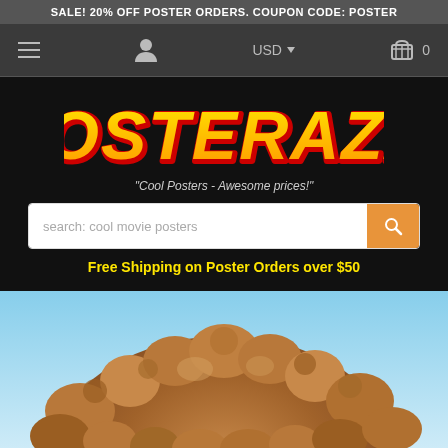SALE! 20% OFF POSTER ORDERS. COUPON CODE: POSTER
[Figure (screenshot): Navigation bar with hamburger menu icon, user icon, USD currency selector with dropdown arrow, and shopping cart icon with 0 count]
[Figure (logo): Posterazzi logo in yellow/red comic-style lettering on black background with tagline: Cool Posters - Awesome prices!]
"Cool Posters - Awesome prices!"
[Figure (screenshot): Search bar with placeholder text 'search: cool movie posters' and orange search button with magnifying glass icon]
Free Shipping on Poster Orders over $50
[Figure (photo): Close-up photo of a person with large curly brown hair against a light blue background, only top of head visible]